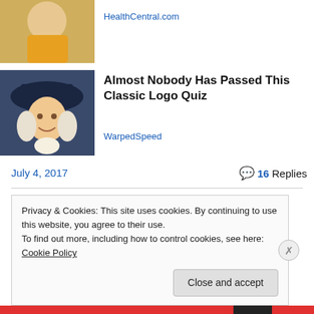[Figure (photo): Person in yellow sweater scratching arm, psoriasis-related image thumbnail]
HealthCentral.com
[Figure (illustration): Cartoon character with white wig and dark hat, classic logo quiz thumbnail]
Almost Nobody Has Passed This Classic Logo Quiz
WarpedSpeed
July 4, 2017
16 Replies
Privacy & Cookies: This site uses cookies. By continuing to use this website, you agree to their use.
To find out more, including how to control cookies, see here: Cookie Policy
Close and accept